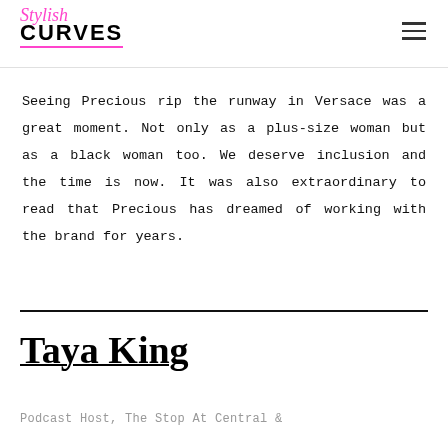Stylish CURVES
Seeing Precious rip the runway in Versace was a great moment. Not only as a plus-size woman but as a black woman too. We deserve inclusion and the time is now. It was also extraordinary to read that Precious has dreamed of working with the brand for years.
Taya King
Podcast Host, The Stop At Central &